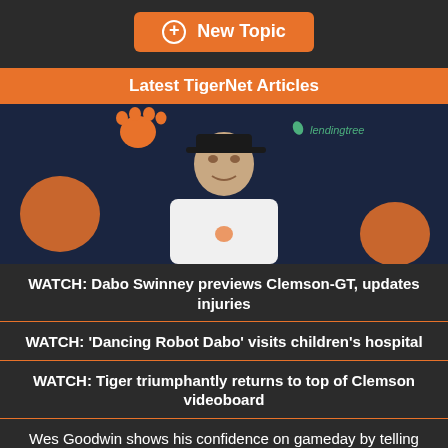+ New Topic
Latest TigerNet Articles
[Figure (photo): Photo of Dabo Swinney at a press conference with Clemson tiger paw logo and LendingTree banner in background]
WATCH: Dabo Swinney previews Clemson-GT, updates injuries
WATCH: 'Dancing Robot Dabo' visits children's hospital
WATCH: Tiger triumphantly returns to top of Clemson videoboard
Wes Goodwin shows his confidence on gameday by telling jokes
NCAA approves transfer portal windows, tables